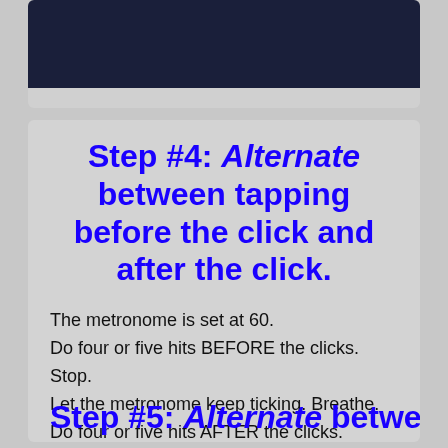[Figure (photo): Dark background image partially visible at the top of the page, showing a dark navy/black scene, cropped at the bottom of the top card.]
Step #4: Alternate between tapping before the click and after the click.
The metronome is set at 60.
Do four or five hits BEFORE the clicks. Stop.
Let the metronome keep ticking. Breathe.
Do four or five hits AFTER the clicks.
Keep alternating.
Effortless, no big deal.
Step #5: Alternate between